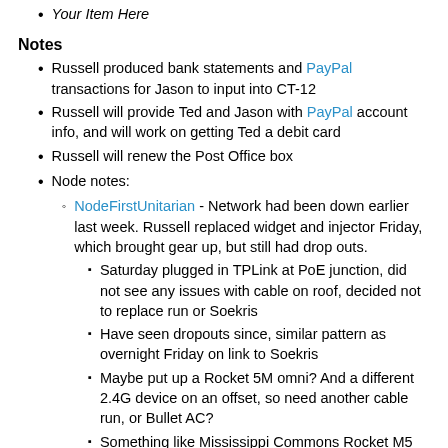Your Item Here
Notes
Russell produced bank statements and PayPal transactions for Jason to input into CT-12
Russell will provide Ted and Jason with PayPal account info, and will work on getting Ted a debit card
Russell will renew the Post Office box
Node notes:
NodeFirstUnitarian - Network had been down earlier last week. Russell replaced widget and injector Friday, which brought gear up, but still had drop outs.
Saturday plugged in TPLink at PoE junction, did not see any issues with cable on roof, decided not to replace run or Soekris
Have seen dropouts since, similar pattern as overnight Friday on link to Soekris
Maybe put up a Rocket 5M omni? And a different 2.4G device on an offset, so need another cable run, or Bullet AC?
Something like Mississippi Commons Rocket M5 and Bullet AC? Jason could buy if spec'd. Maybe June event?
Russell out of country May 5-26th